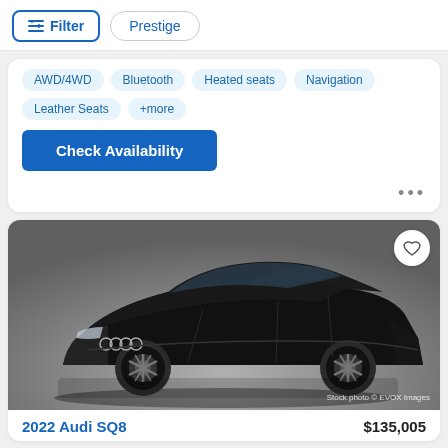Filter
Prestige
AWD/4WD
Bluetooth
Heated seats
Navigation
Leather Seats
+more
Check Availability
[Figure (photo): Black Audi SQ8 SUV, front three-quarter view, stock photo with dark gradient background. Watermark: Stock photo © EVOX Images]
2022 Audi SQ8
$135,005